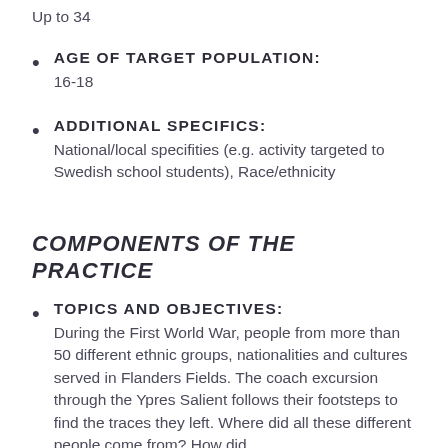Up to 34
AGE OF TARGET POPULATION: 16-18
ADDITIONAL SPECIFICS: National/local specifities (e.g. activity targeted to Swedish school students), Race/ethnicity
COMPONENTS OF THE PRACTICE
TOPICS AND OBJECTIVES: During the First World War, people from more than 50 different ethnic groups, nationalities and cultures served in Flanders Fields. The coach excursion through the Ypres Salient follows their footsteps to find the traces they left. Where did all these different people come from? How did